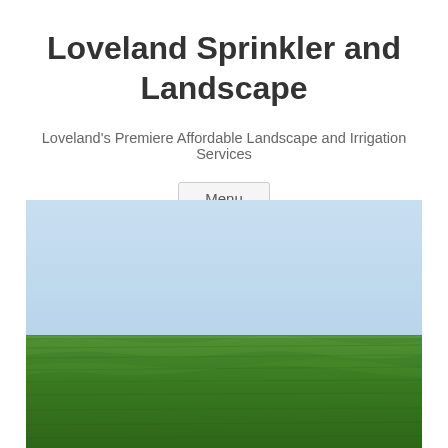Loveland Sprinkler and Landscape
Loveland's Premiere Affordable Landscape and Irrigation Services
Menu
[Figure (photo): A landscape photo showing a wide expanse of bright green grass in the lower half and a clear light blue sky in the upper half, with a flat horizon line dividing them.]